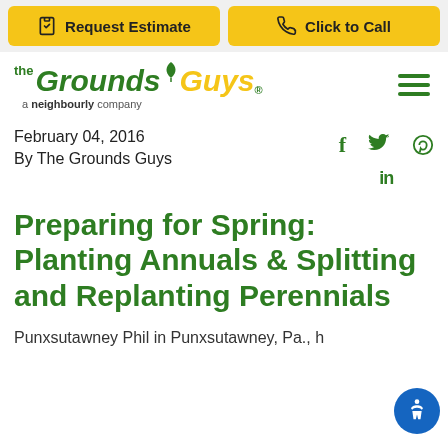Request Estimate | Click to Call
[Figure (logo): The Grounds Guys logo - a neighbourly company]
February 04, 2016
By The Grounds Guys
Preparing for Spring: Planting Annuals & Splitting and Replanting Perennials
Punxsutawney Phil in Punxsutawney, Pa., h